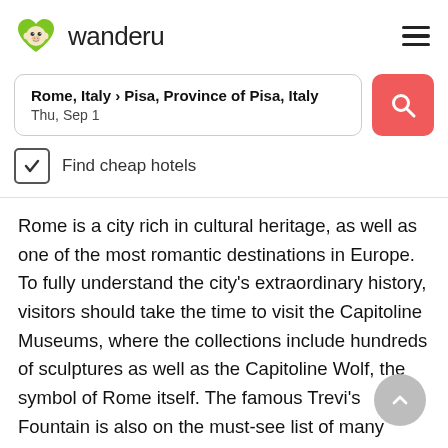[Figure (logo): Wanderu logo: green heart-shaped icon with monkey face and 'wanderu' text]
Rome, Italy › Pisa, Province of Pisa, Italy
Thu, Sep 1
Find cheap hotels
Rome is a city rich in cultural heritage, as well as one of the most romantic destinations in Europe. To fully understand the city's extraordinary history, visitors should take the time to visit the Capitoline Museums, where the collections include hundreds of sculptures as well as the Capitoline Wolf, the symbol of Rome itself. The famous Trevi's Fountain is also on the must-see list of many travelers. Boasting an amazing baroque design with mythological motifs, the fountain is one of the most photogenic spots in the city, and it is located near the principal shopping area. If you wish to check out some of the city's most iconic